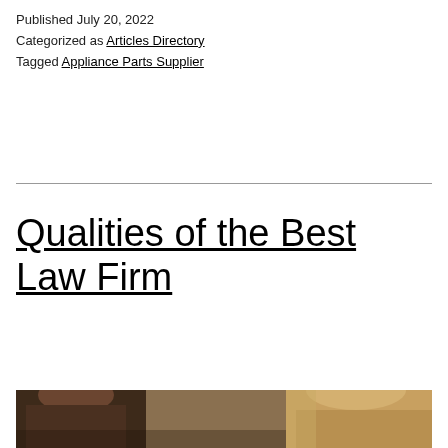Published July 20, 2022
Categorized as Articles Directory
Tagged Appliance Parts Supplier
Qualities of the Best Law Firm
[Figure (photo): Photo showing two people, partially visible, against a warm background]